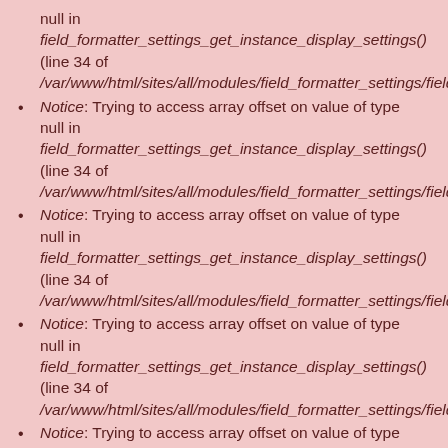Notice: Trying to access array offset on value of type null in field_formatter_settings_get_instance_display_settings() (line 34 of /var/www/html/sites/all/modules/field_formatter_settings/field_
Notice: Trying to access array offset on value of type null in field_formatter_settings_get_instance_display_settings() (line 34 of /var/www/html/sites/all/modules/field_formatter_settings/field_
Notice: Trying to access array offset on value of type null in field_formatter_settings_get_instance_display_settings() (line 34 of /var/www/html/sites/all/modules/field_formatter_settings/field_
Notice: Trying to access array offset on value of type null in field_formatter_settings_get_instance_display_settings() (line 34 of /var/www/html/sites/all/modules/field_formatter_settings/field_
Notice: Trying to access array offset on value of type null in field_formatter_settings_get_instance_display_settings() (line 34 of